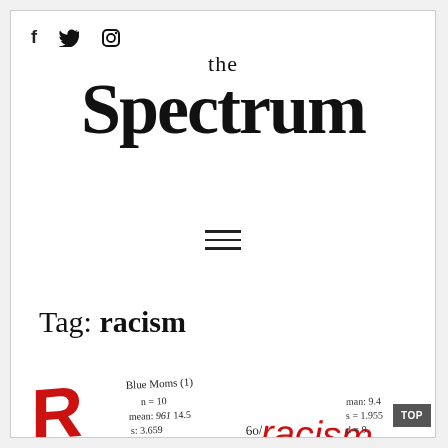f  [twitter]  [instagram]
the Spectrum
[Figure (other): Hamburger menu icon (three horizontal lines)]
Tag: racism
[Figure (other): Handwritten graffiti-style notes showing statistics: Blue Moms (1), n=10, mean: 961 14.5, s: 3.659; racism written in red, man: 9.4, s=1.955, d=9; percentage symbol visible; TOP button overlay]